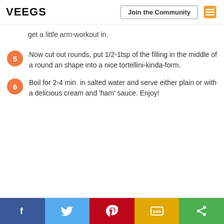VEEGS | Join the Community
get a little arm-workout in.
5 Now cut out rounds, put 1/2-1tsp of the filling in the middle of a round an shape into a nice tortellini-kinda-form.
6 Boil for 2-4 min. in salted water and serve either plain or with a delicious cream and 'ham' sauce. Enjoy!